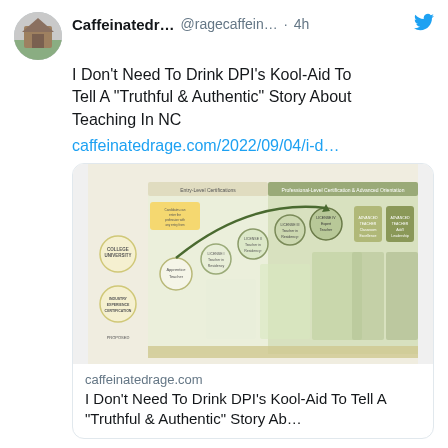[Figure (screenshot): Tweet from @ragecaffein... (Caffeinated r...) posted 4h ago on Twitter. Text: I Don't Need To Drink DPI's Kool-Aid To Tell A “Truthful & Authentic” Story About Teaching In NC. Link: caffeinatedrage.com/2022/09/04/i-d... with a link card showing a teaching certification flowchart image and title 'I Don't Need To Drink DPI's Kool-Aid To Tell A “Truthful & Authentic” Story Ab...' Actions: 0 comments, 3 likes.]
[Figure (screenshot): Partial second tweet from Caffeinated... (@ragecaffe...) posted Sep 2 on Twitter, showing only the header.]